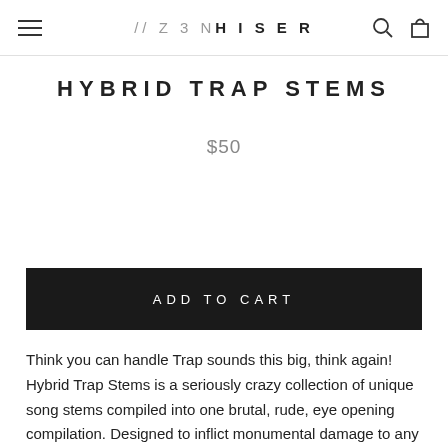// ZENHISER
HYBRID TRAP STEMS
$50
ADD TO CART
Think you can handle Trap sounds this big, think again! Hybrid Trap Stems is a seriously crazy collection of unique song stems compiled into one brutal, rude, eye opening compilation. Designed to inflict monumental damage to any dance floor, this stem pack an absolute goldmine. The sample pack is your